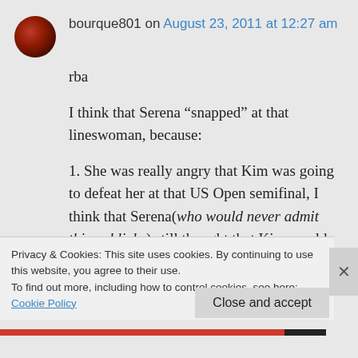bourque801 on August 23, 2011 at 12:27 am
rba
I think that Serena “snapped” at that lineswoman, because:
1. She was really angry that Kim was going to defeat her at that US Open semifinal, I think that Serena(who would never admit this publicly.) still thought that Kim would give away the match....and when, in
Privacy & Cookies: This site uses cookies. By continuing to use this website, you agree to their use.
To find out more, including how to control cookies, see here: Cookie Policy
Close and accept